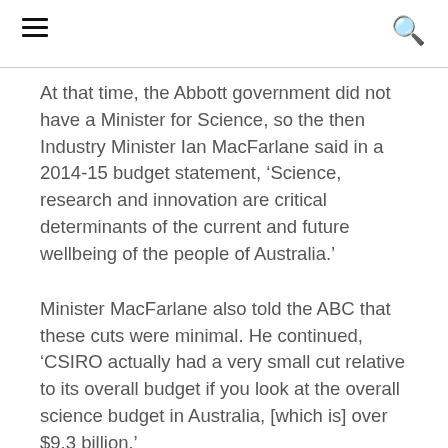Navigation header with menu and search icons
At that time, the Abbott government did not have a Minister for Science, so the then Industry Minister Ian MacFarlane said in a 2014-15 budget statement, ‘Science, research and innovation are critical determinants of the current and future wellbeing of the people of Australia.’
Minister MacFarlane also told the ABC that these cuts were minimal. He continued, ‘CSIRO actually had a very small cut relative to its overall budget if you look at the overall science budget in Australia, [which is] over $9.3 billion.’
He added, ‘We’re not slashing funding to science, as I’ve